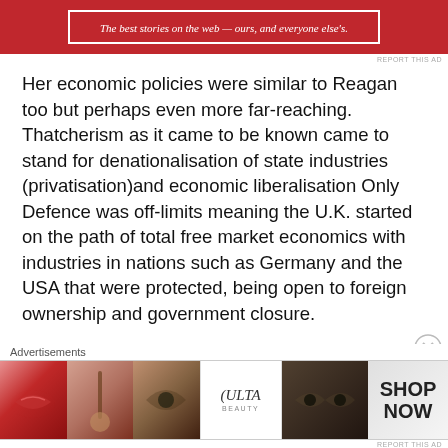[Figure (other): Red advertisement banner with white italic text reading 'The best stories on the web — ours, and everyone else's.' inside a white border]
REPORT THIS AD
Her economic policies were similar to Reagan too but perhaps even more far-reaching. Thatcherism as it came to be known came to stand for denationalisation of state industries (privatisation)and economic liberalisation Only Defence was off-limits meaning the U.K. started on the path of total free market economics with industries in nations such as Germany and the USA that were protected, being open to foreign ownership and government closure.
She created a nation of small-time share owners and attracted support from a new wave of voters who
Advertisements
[Figure (photo): Bottom advertisement banner showing beauty product images: lips with red lipstick, makeup brush, eye with dramatic makeup, ULTA Beauty logo, eyes with dark eye makeup, and SHOP NOW text on grey background]